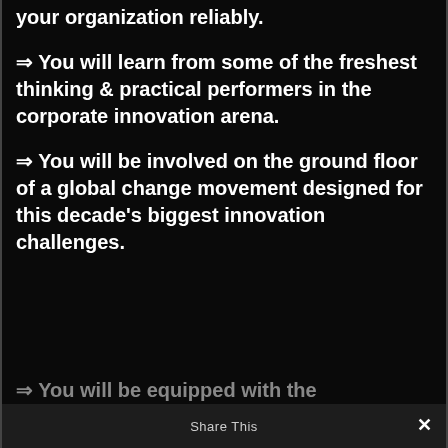your organization reliably.
⇒ You will learn from some of the freshest thinking & practical performers in the corporate innovation arena.
⇒ You will be involved on the ground floor of a global change movement designed for this decade's biggest innovation challenges.
⇒ You will be equipped with the
Share This